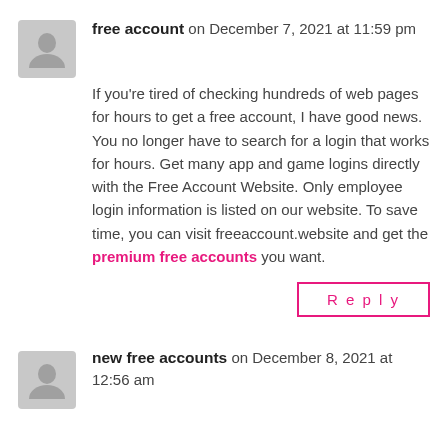free account on December 7, 2021 at 11:59 pm
If you're tired of checking hundreds of web pages for hours to get a free account, I have good news. You no longer have to search for a login that works for hours. Get many app and game logins directly with the Free Account Website. Only employee login information is listed on our website. To save time, you can visit freeaccount.website and get the premium free accounts you want.
Reply
new free accounts on December 8, 2021 at 12:56 am